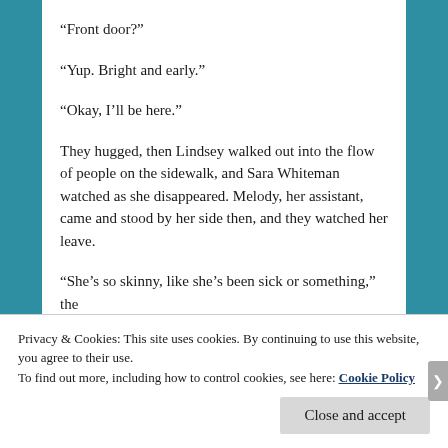“Front door?”
“Yup. Bright and early.”
“Okay, I’ll be here.”
They hugged, then Lindsey walked out into the flow of people on the sidewalk, and Sara Whiteman watched as she disappeared. Melody, her assistant, came and stood by her side then, and they watched her leave.
“She’s so skinny, like she’s been sick or something,” the
Privacy & Cookies: This site uses cookies. By continuing to use this website, you agree to their use.
To find out more, including how to control cookies, see here: Cookie Policy
Close and accept